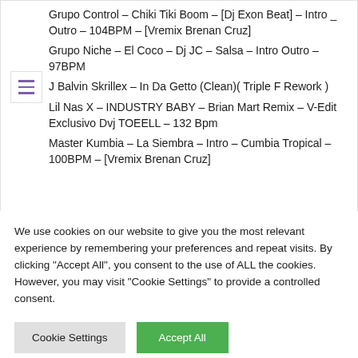Grupo Control – Chiki Tiki Boom – [Dj Exon Beat] – Intro _ Outro – 104BPM – [Vremix Brenan Cruz]
Grupo Niche – El Coco – Dj JC – Salsa – Intro Outro – 97BPM
J Balvin Skrillex – In Da Getto (Clean)( Triple F Rework )
Lil Nas X – INDUSTRY BABY – Brian Mart Remix – V-Edit Exclusivo Dvj TOEELL – 132 Bpm
Master Kumbia – La Siembra – Intro – Cumbia Tropical – 100BPM – [Vremix Brenan Cruz]
We use cookies on our website to give you the most relevant experience by remembering your preferences and repeat visits. By clicking "Accept All", you consent to the use of ALL the cookies. However, you may visit "Cookie Settings" to provide a controlled consent.
Cookie Settings | Accept All